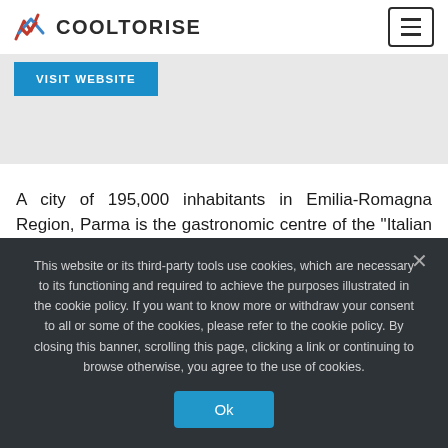COOLTORISE
VISIT WEBSITE
A city of 195,000 inhabitants in Emilia-Romagna Region, Parma is the gastronomic centre of the “Italian Food Valley”. With 30.5% of the labour force working in the agri-food and gastronomic industry, the sector has
This website or its third-party tools use cookies, which are necessary to its functioning and required to achieve the purposes illustrated in the cookie policy. If you want to know more or withdraw your consent to all or some of the cookies, please refer to the cookie policy. By closing this banner, scrolling this page, clicking a link or continuing to browse otherwise, you agree to the use of cookies.

Ok